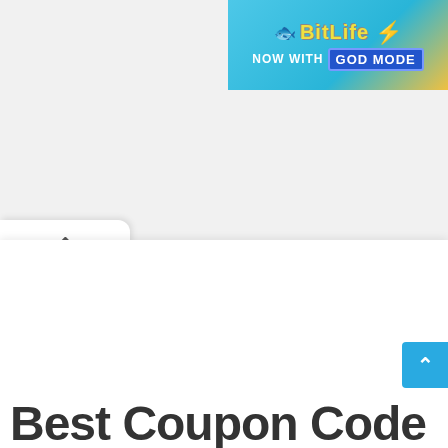[Figure (screenshot): BitLife 'Now With God Mode' advertisement banner in the top right corner, with blue/yellow background, game logo, lightning bolt, and styled text.]
[Figure (screenshot): A collapsible panel tab with an up chevron arrow on the left side of the page.]
[Figure (screenshot): A blue scroll-to-top button with an up arrow on the right side of the page.]
Best Coupon Code